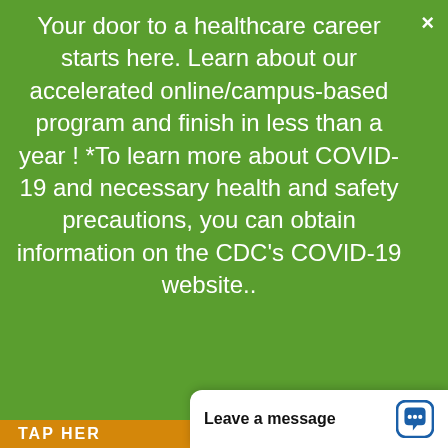Your door to a healthcare career starts here. Learn about our accelerated online/campus-based program and finish in less than a year ! *To learn more about COVID-19 and necessary health and safety precautions, you can obtain information on the CDC's COVID-19 website..
[Figure (other): Learn More button (purple/blue button with white text)]
OUR CERTIFICATIONS
[Figure (logo): COE certification circular logo]
[Figure (logo): Arizona state flag]
[Figure (logo): BBB A+ Accredited Business logo]
[Figure (logo): NYS ED .gov logo]
[Figure (logo): Expertise.com 2022 Best Trade Schools in Phoenix logo]
TAP HER
Leave a message